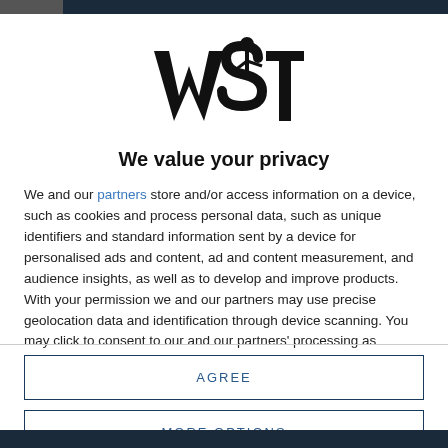[Figure (logo): WST logo — bold stylized letters with a snooker player silhouette]
We value your privacy
We and our partners store and/or access information on a device, such as cookies and process personal data, such as unique identifiers and standard information sent by a device for personalised ads and content, ad and content measurement, and audience insights, as well as to develop and improve products. With your permission we and our partners may use precise geolocation data and identification through device scanning. You may click to consent to our and our partners' processing as described above. Alternatively you may access more
AGREE
MORE OPTIONS